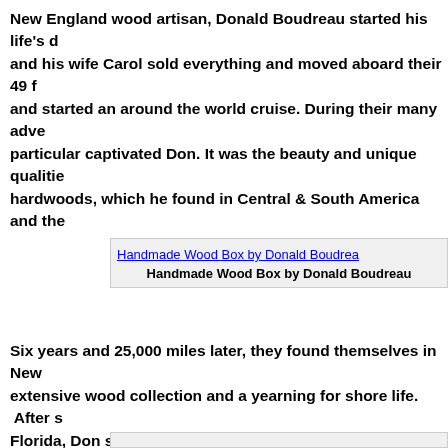New England wood artisan, Donald Boudreau started his life's d… and his wife Carol sold everything and moved aboard their 49 f… and started an around the world cruise. During their many adve… particular captivated Don. It was the beauty and unique qualitie… hardwoods, which he found in Central & South America and the…
[Figure (photo): Handmade Wood Box by Donald Boudreau — image placeholder with caption below]
Handmade Wood Box by Donald Boudreau
Six years and 25,000 miles later, they found themselves in New … extensive wood collection and a yearning for shore life. After s… Florida, Don started building boxes using some of the woods h… adventure.